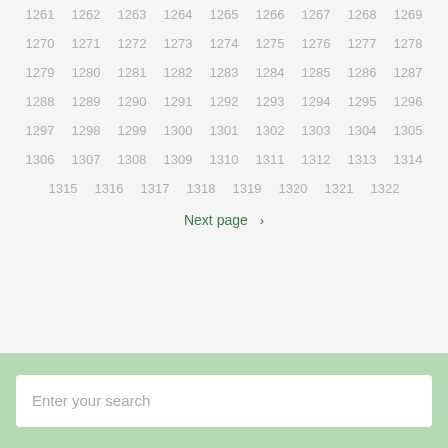1261 1262 1263 1264 1265 1266 1267 1268 1269
1270 1271 1272 1273 1274 1275 1276 1277 1278
1279 1280 1281 1282 1283 1284 1285 1286 1287
1288 1289 1290 1291 1292 1293 1294 1295 1296
1297 1298 1299 1300 1301 1302 1303 1304 1305
1306 1307 1308 1309 1310 1311 1312 1313 1314
1315 1316 1317 1318 1319 1320 1321 1322
Next page ›
Enter your search